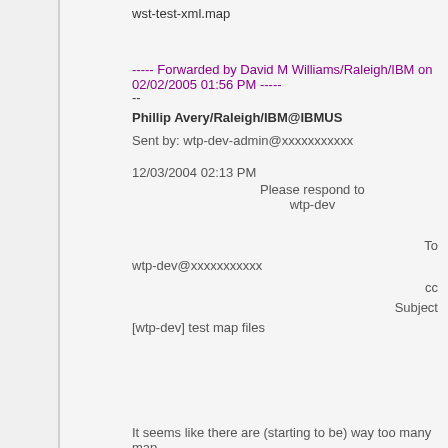wst-test-xml.map
----- Forwarded by David M Williams/Raleigh/IBM on 02/02/2005 01:56 PM -----
--
Phillip Avery/Raleigh/IBM@IBMUS
Sent by: wtp-dev-admin@xxxxxxxxxxx
12/03/2004 02:13 PM
Please respond to
wtp-dev
To
wtp-dev@xxxxxxxxxxx
cc
Subject
[wtp-dev] test map files
It seems like there are (starting to be) way too many map